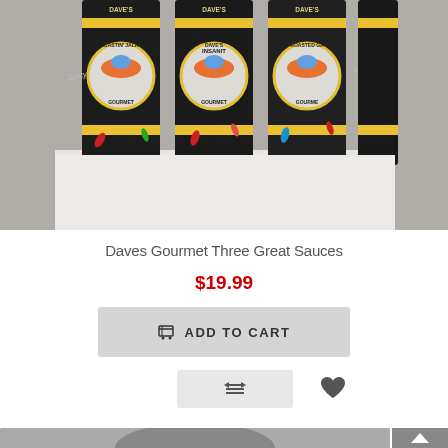[Figure (photo): Three bottles of Dave's Gourmet hot sauce lined up: Roastin' Jalapeno, Insanity, and Roasted Garlic varieties. Dark bottles with colorful circular labels and yellow band accents, displayed against a light background.]
Daves Gourmet Three Great Sauces
$19.99
ADD TO CART
[Figure (photo): Bottom portion of another product image, partially visible]